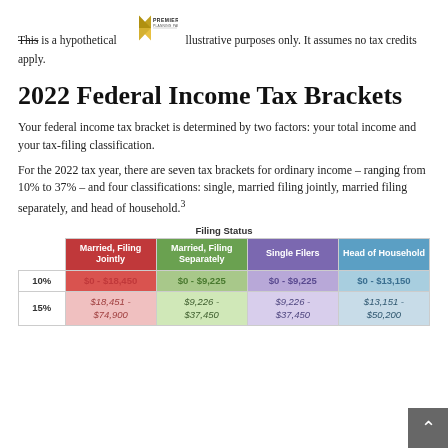This is a hypothetical example for illustrative purposes only. It assumes no tax credits apply.
2022 Federal Income Tax Brackets
Your federal income tax bracket is determined by two factors: your total income and your tax-filing classification.
For the 2022 tax year, there are seven tax brackets for ordinary income – ranging from 10% to 37% – and four classifications: single, married filing jointly, married filing separately, and head of household.³
| Tax Rate | Married, Filing Jointly | Married, Filing Separately | Single Filers | Head of Household |
| --- | --- | --- | --- | --- |
| 10% | $0 - $18,450 | $0 - $9,225 | $0 - $9,225 | $0 - $13,150 |
| 15% | $18,451 - $74,900 | $9,226 - $37,450 | $9,226 - $37,450 | $13,151 - $50,200 |